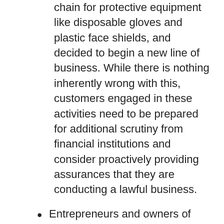chain for protective equipment like disposable gloves and plastic face shields, and decided to begin a new line of business. While there is nothing inherently wrong with this, customers engaged in these activities need to be prepared for additional scrutiny from financial institutions and consider proactively providing assurances that they are conducting a lawful business.
Entrepreneurs and owners of new businesses (post-January 2020) should take the time to ensure all business formalities and rules are followed, even in the fast-paced